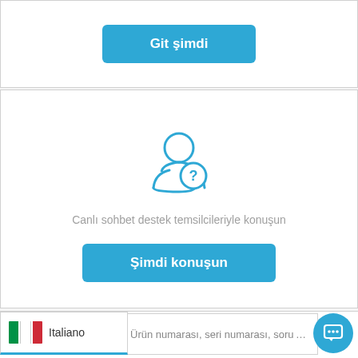Git şimdi
[Figure (illustration): User/person icon with a question mark badge, in blue outline style]
Canlı sohbet destek temsilcileriyle konuşun
Şimdi konuşun
[Figure (illustration): Italian flag icon next to Italiano language label]
Italiano
Ürün numarası, seri numarası, soru